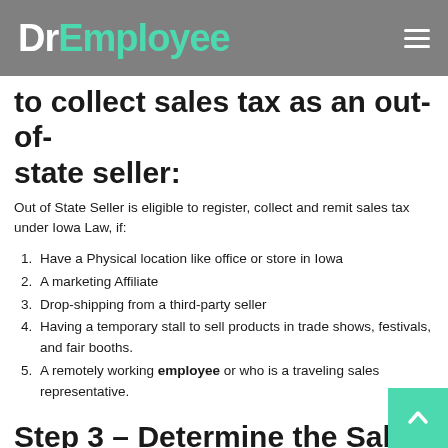DrEmployee
to collect sales tax as an out-of-state seller:
Out of State Seller is eligible to register, collect and remit sales tax under Iowa Law, if:
Have a Physical location like office or store in Iowa
A marketing Affiliate
Drop-shipping from a third-party seller
Having a temporary stall to sell products in trade shows, festivals, and fair booths.
A remotely working employee or who is a traveling sales representative.
Step 3 – Determine the Sales Rate: